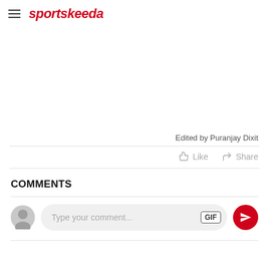sportskeeda
Edited by Puranjay Dixit
Like  Share
COMMENTS
Type your comment...  GIF